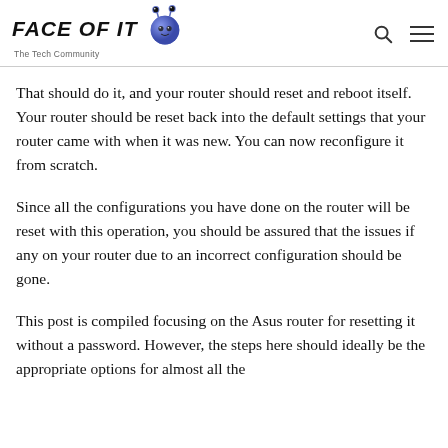FACE OF IT — The Tech Community
That should do it, and your router should reset and reboot itself. Your router should be reset back into the default settings that your router came with when it was new. You can now reconfigure it from scratch.
Since all the configurations you have done on the router will be reset with this operation, you should be assured that the issues if any on your router due to an incorrect configuration should be gone.
This post is compiled focusing on the Asus router for resetting it without a password. However, the steps here should ideally be the appropriate options for almost all the